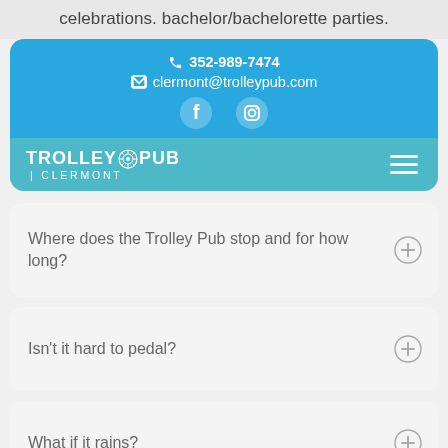celebrations. bachelor/bachelorette parties.
📞 352-989-7474
✉ clermont@trolleypub.com
[Figure (logo): Facebook and Instagram social icons in white circles]
[Figure (logo): Trolley Pub Clermont logo with gear/wheel icon in teal nav bar with hamburger menu]
Where does the Trolley Pub stop and for how long?
Isn't it hard to pedal?
What if it rains?